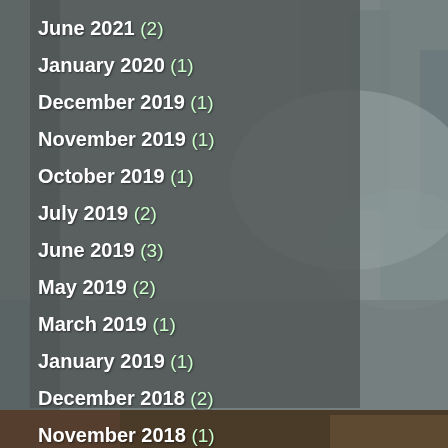June 2021 (2)
January 2020 (1)
December 2019 (1)
November 2019 (1)
October 2019 (1)
July 2019 (2)
June 2019 (3)
May 2019 (2)
March 2019 (1)
January 2019 (1)
December 2018 (2)
November 2018 (1)
August 2018 (1)
July 2018 (5)
[Figure (photo): Background image of a snowy forest/water scene with trees, rendered in grayscale/muted tones. Bottom strip shows a warm-toned natural scene.]